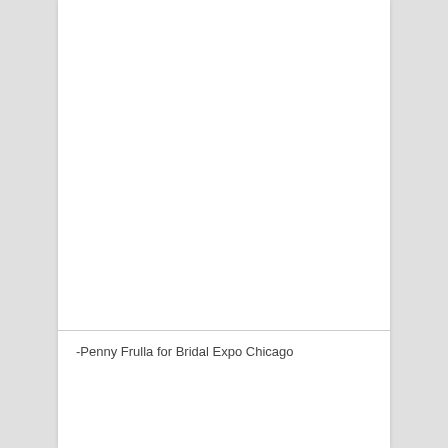[Figure (photo): Large blank/white image area at the top of the page]
-Penny Frulla for Bridal Expo Chicago